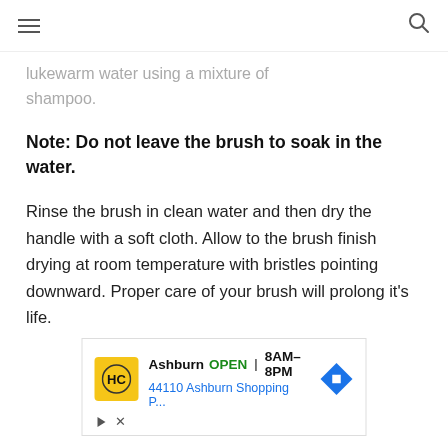≡  🔍
…lukewarm water using a mixture of shampoo.
Note: Do not leave the brush to soak in the water.
Rinse the brush in clean water and then dry the handle with a soft cloth. Allow to the brush finish drying at room temperature with bristles pointing downward. Proper care of your brush will prolong it's life.
[Figure (other): Advertisement banner for a local business: HC logo (yellow background), Ashburn OPEN 8AM-8PM, 44110 Ashburn Shopping P..., with a blue diamond direction arrow icon. Ad controls (play and close) at bottom left.]